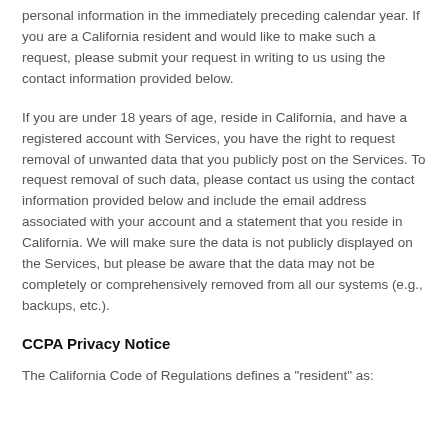personal information in the immediately preceding calendar year. If you are a California resident and would like to make such a request, please submit your request in writing to us using the contact information provided below.
If you are under 18 years of age, reside in California, and have a registered account with Services, you have the right to request removal of unwanted data that you publicly post on the Services. To request removal of such data, please contact us using the contact information provided below and include the email address associated with your account and a statement that you reside in California. We will make sure the data is not publicly displayed on the Services, but please be aware that the data may not be completely or comprehensively removed from all our systems (e.g., backups, etc.).
CCPA Privacy Notice
The California Code of Regulations defines a "resident" as: